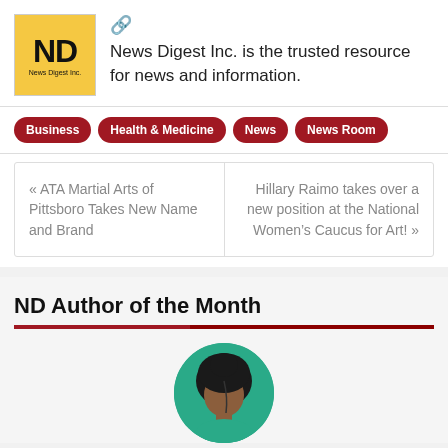[Figure (logo): News Digest Inc. logo — yellow square with bold 'ND' text and 'News Digest Inc.' below]
News Digest Inc. is the trusted resource for news and information.
Business
Health & Medicine
News
News Room
« ATA Martial Arts of Pittsboro Takes New Name and Brand
Hillary Raimo takes over a new position at the National Women's Caucus for Art! »
ND Author of the Month
[Figure (photo): Circular cropped portrait photo of a person wearing a green outfit, with dark hair pulled back, shown from the shoulders up — partially cropped at bottom of page]